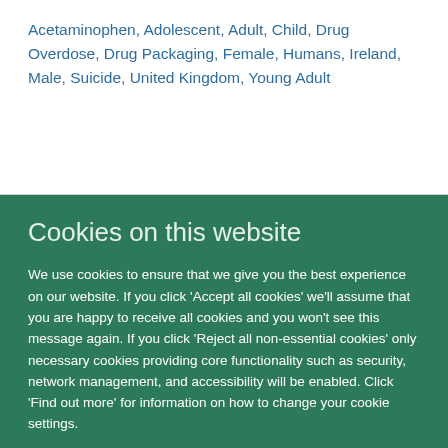Acetaminophen, Adolescent, Adult, Child, Drug Overdose, Drug Packaging, Female, Humans, Ireland, Male, Suicide, United Kingdom, Young Adult
Cookies on this website
We use cookies to ensure that we give you the best experience on our website. If you click 'Accept all cookies' we'll assume that you are happy to receive all cookies and you won't see this message again. If you click 'Reject all non-essential cookies' only necessary cookies providing core functionality such as security, network management, and accessibility will be enabled. Click 'Find out more' for information on how to change your cookie settings.